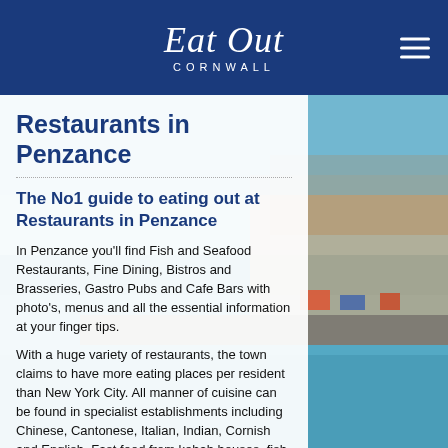Eat Out Cornwall
Restaurants in Penzance
The No1 guide to eating out at Restaurants in Penzance
In Penzance you'll find Fish and Seafood Restaurants, Fine Dining, Bistros and Brasseries, Gastro Pubs and Cafe Bars with photo's, menus and all the essential information at your finger tips.
With a huge variety of restaurants, the town claims to have more eating places per resident than New York City. All manner of cuisine can be found in specialist establishments including Chinese, Cantonese, Italian, Indian, Cornish and English. Fast food from kebab houses, fish & chip shops, pasty